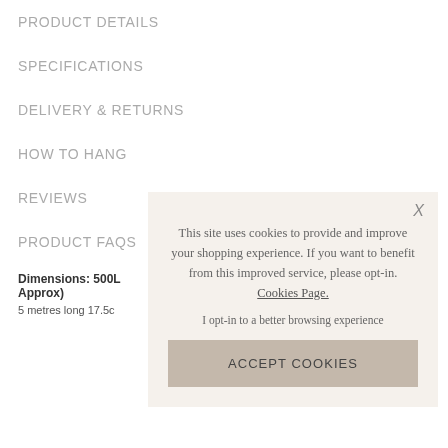PRODUCT DETAILS
SPECIFICATIONS
DELIVERY & RETURNS
HOW TO HANG
REVIEWS
PRODUCT FAQS
Dimensions: 500L (Approx)
5 metres long 17.5c
[Figure (screenshot): Cookie consent popup overlay with text: 'This site uses cookies to provide and improve your shopping experience. If you want to benefit from this improved service, please opt-in. Cookies Page.' and a link 'I opt-in to a better browsing experience' and an 'ACCEPT COOKIES' button. Has an X close button in top right corner.]